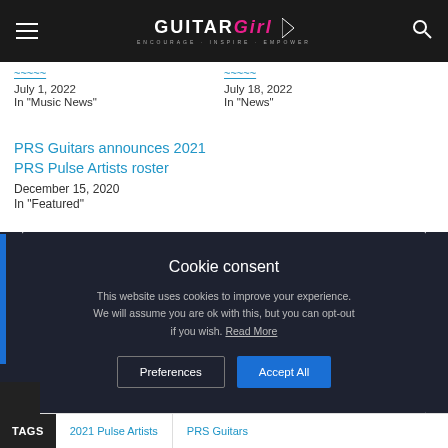Guitar Girl Magazine
[truncated link title] July 1, 2022 In "Music News"
[truncated link title] July 18, 2022 In "News"
PRS Guitars announces 2021 PRS Pulse Artists roster
December 15, 2020
In "Featured"
Cookie consent
This website uses cookies to improve your experience. We will assume you are ok with this, but you can opt-out if you wish. Read More
TAGS   2021 Pulse Artists   PRS Guitars